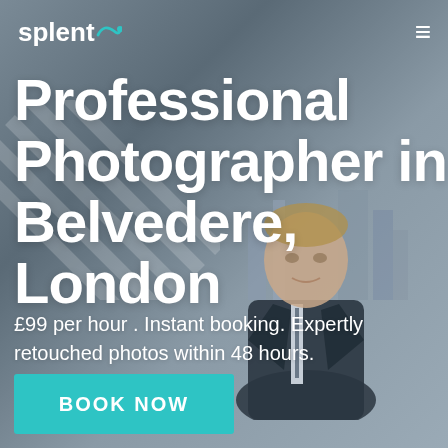[Figure (photo): Hero background: a professional photographer/businessman in a suit, shot from chest up, with a blurred London cityscape behind him. Overlaid with diagonal stripe pattern on the left side. Gray-blue color grading.]
splento
Professional Photographer in Belvedere, London
£99 per hour . Instant booking. Expertly retouched photos within 48 hours.
BOOK NOW